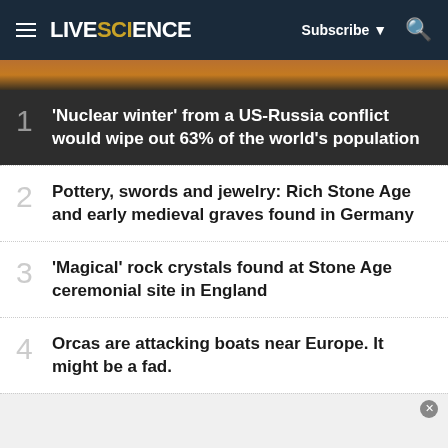LIVESCIENCE — Subscribe — Search
1 'Nuclear winter' from a US-Russia conflict would wipe out 63% of the world's population
2 Pottery, swords and jewelry: Rich Stone Age and early medieval graves found in Germany
3 'Magical' rock crystals found at Stone Age ceremonial site in England
4 Orcas are attacking boats near Europe. It might be a fad.